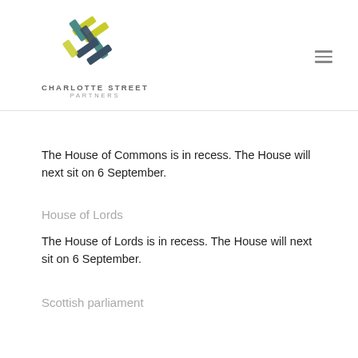[Figure (logo): Charlotte Street Partners logo — interlocking geometric shapes in yellow-green, teal, and dark slate blue, with text 'CHARLOTTE STREET PARTNERS' below]
The House of Commons is in recess. The House will next sit on 6 September.
House of Lords
The House of Lords is in recess. The House will next sit on 6 September.
Scottish parliament